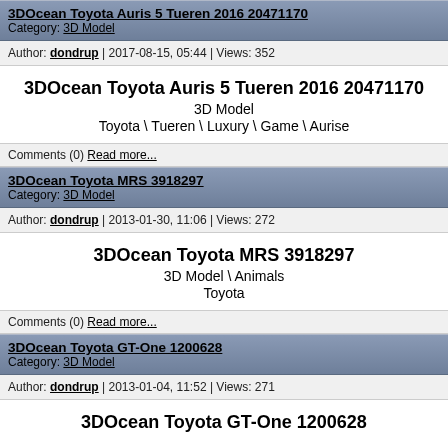3DOcean Toyota Auris 5 Tueren 2016 20471170
Category: 3D Model
Author: dondrup | 2017-08-15, 05:44 | Views: 352
3DOcean Toyota Auris 5 Tueren 2016 20471170
3D Model
Toyota \ Tueren \ Luxury \ Game \ Aurise
Comments (0) Read more...
3DOcean Toyota MRS 3918297
Category: 3D Model
Author: dondrup | 2013-01-30, 11:06 | Views: 272
3DOcean Toyota MRS 3918297
3D Model \ Animals
Toyota
Comments (0) Read more...
3DOcean Toyota GT-One 1200628
Category: 3D Model
Author: dondrup | 2013-01-04, 11:52 | Views: 271
3DOcean Toyota GT-One 1200628